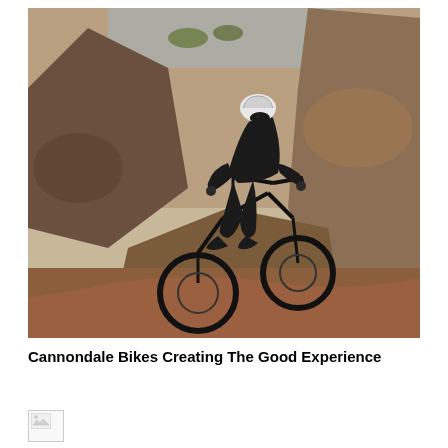[Figure (photo): A mountain biker wearing a black full-body suit and white helmet rides down a rocky trail between large boulders. The rocky desert landscape is visible in the background.]
Cannondale Bikes Creating The Good Experience
[Figure (photo): Broken/missing image placeholder icon]